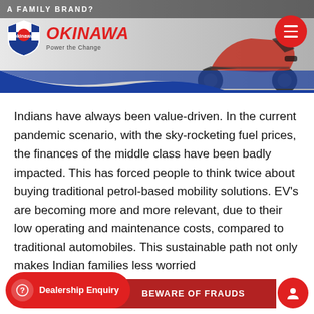[Figure (screenshot): Okinawa Electric Scooters website header with logo, tagline 'Power the Change', navigation menu button, blue wave divider, and scooter image in background]
Indians have always been value-driven. In the current pandemic scenario, with the sky-rocketing fuel prices, the finances of the middle class have been badly impacted. This has forced people to think twice about buying traditional petrol-based mobility solutions. EV's are becoming more and more relevant, due to their low operating and maintenance costs, compared to traditional automobiles. This sustainable path not only makes Indian families less worried [about finances], but also brings nature back into the driver's seat.
Dealership Enquiry
BEWARE OF FRAUDS